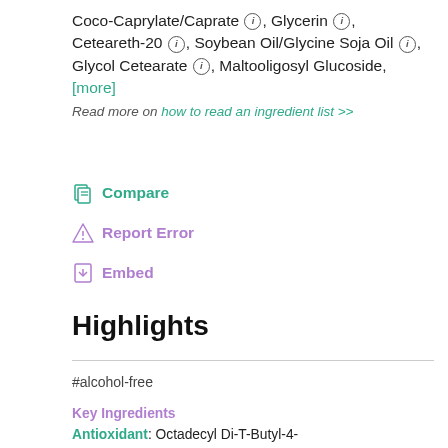Coco-Caprylate/Caprate ⓘ, Glycerin ⓘ, Ceteareth-20 ⓘ, Soybean Oil/Glycine Soja Oil ⓘ, Glycol Cetearate ⓘ, Maltooligosyl Glucoside, [more]
Read more on how to read an ingredient list >>
Compare
Report Error
Embed
Highlights
#alcohol-free
Key Ingredients
Antioxidant: Octadecyl Di-T-Butyl-4-Hydroxyhydrocinnamate ⓘ
Skin-identical ingredient: Urea ⓘ, Glycerin ⓘ, Sodium Hyaluronate ⓘ, Squalane ⓘ